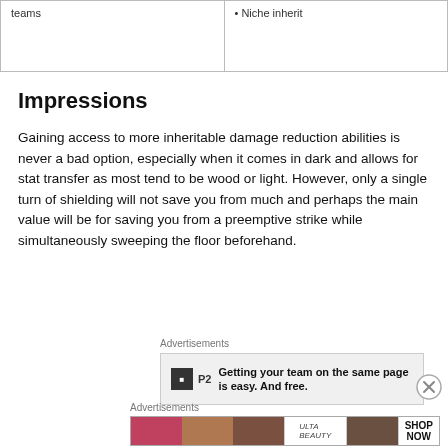| teams | Niche inherit |
| --- | --- |
|  |  |
Impressions
Gaining access to more inheritable damage reduction abilities is never a bad option, especially when it comes in dark and allows for stat transfer as most tend to be wood or light. However, only a single turn of shielding will not save you from much and perhaps the main value will be for saving you from a preemptive strike while simultaneously sweeping the floor beforehand.
Advertisements
[Figure (screenshot): P2 advertisement: Getting your team on the same page is easy. And free.]
Advertisements
[Figure (screenshot): Ulta beauty advertisement with cosmetic imagery. SHOP NOW.]